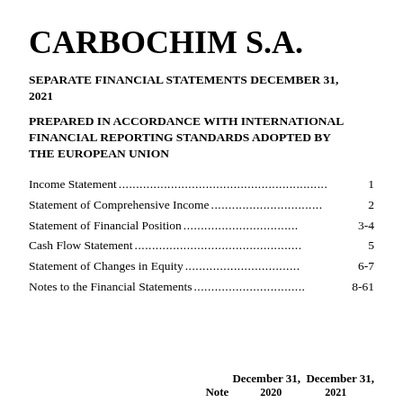CARBOCHIM S.A.
SEPARATE FINANCIAL STATEMENTS DECEMBER 31, 2021
PREPARED IN ACCORDANCE WITH INTERNATIONAL FINANCIAL REPORTING STANDARDS ADOPTED BY THE EUROPEAN UNION
Income Statement.......................................................1
Statement of Comprehensive Income..............................2
Statement of Financial Position....................................3-4
Cash Flow Statement ...................................................5
Statement of Changes in Equity....................................6-7
Notes to the Financial Statements ...............................8-61
Note  December 31,  December 31,